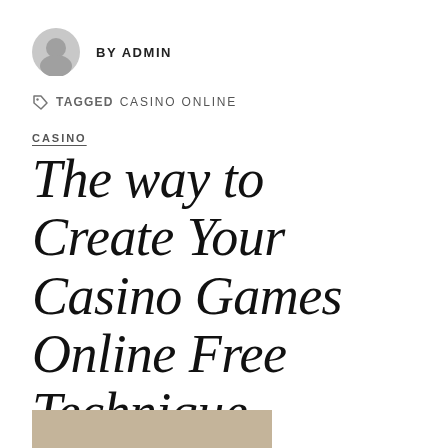BY ADMIN
TAGGED CASINO ONLINE
CASINO
The way to Create Your Casino Games Online Free Technique
A man struggling to make ends meet was as soon as requested why he spent two dollars each week on the lottery. Why didn't he...
[Figure (photo): Partial image strip at bottom, tan/beige color, cropped]